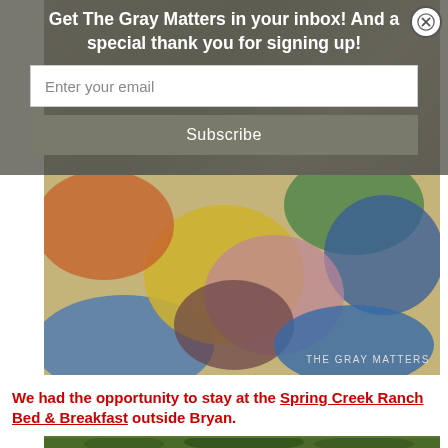Get The Gray Matters in your inbox! And a special thank you for signing up!
Enter your email
Subscribe
[Figure (photo): Blurred colorful photo of children's hands and clothing (yellow, orange, blue, red plaid) on a carpet, with 'THE GRAY MATTERS' watermark in lower right]
We had the opportunity to stay at the Spring Creek Ranch Bed & Breakfast outside Bryan.
[Figure (photo): Partial view of outdoor scene with trees, partially cut off at bottom of page]